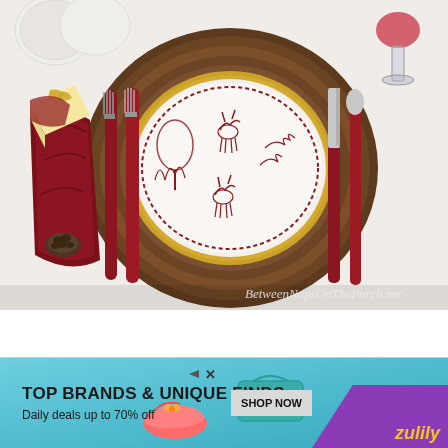[Figure (photo): Overhead view of a holiday table setting featuring a white plate with red toile deer/woodland scene pattern, placed on a rustic wood slice charger with gold metallic trim. Red-handled silverware (two forks on left, knife and spoon on right) flank the plate. A dark red/burgundy cloth napkin is folded and tied with a pinecone napkin ring on the left. A slice of cake with gold leaf is partially visible. A red wine glass is in the upper right corner. White decorative plates visible in upper left. Watermark reads 'BetweenNapsOnThePorch.net'. White background below the photo.]
[Figure (photo): Advertisement banner for Zulily: teal/blue gradient background with text 'TOP BRANDS & UNIQUE FINDS' in bold black, 'Daily deals up to 70% off' below. Purple triangular corner element on the right with 'zulily' in yellow italic text. Product images of colorful shoes and a teal purse/clutch visible. 'SHOP NOW' button in gray. Small ad disclosure triangle icon and X close button visible.]